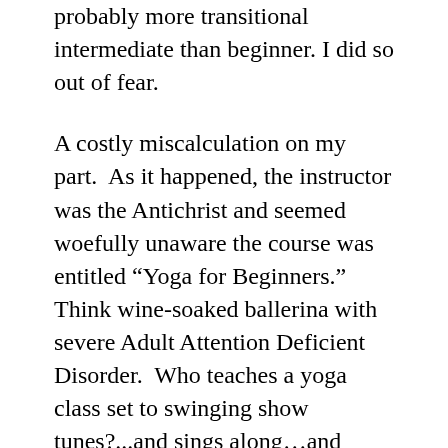probably more transitional intermediate than beginner. I did so out of fear.
A costly miscalculation on my part.  As it happened, the instructor was the Antichrist and seemed woefully unaware the course was entitled “Yoga for Beginners.”   Think wine-soaked ballerina with severe Adult Attention Deficient Disorder.  Who teaches a yoga class set to swinging show tunes?...and sings along…and twirls…oh, so much twirling…She taught the class from her own private padded bubble, offered no modifications, and failed to understand the core principles of yoga.
I have many personality flaws.  Chief on the